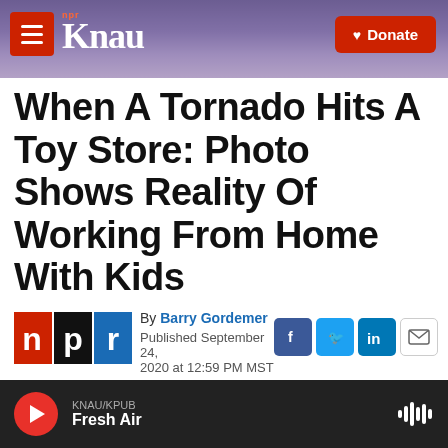KNAU NPR - Donate
When A Tornado Hits A Toy Store: Photo Shows Reality Of Working From Home With Kids
By Barry Gordemer
Published September 24, 2020 at 12:59 PM MST
[Figure (logo): NPR logo with n, p, r letters in red, black, and blue blocks]
[Figure (infographic): Social sharing buttons: Facebook, Twitter, LinkedIn, Email]
KNAU/KPUB Fresh Air player bar